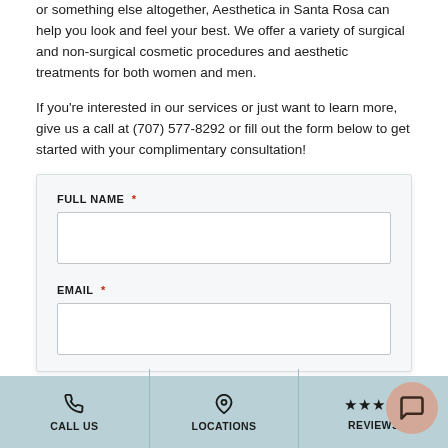or something else altogether, Aesthetica in Santa Rosa can help you look and feel your best. We offer a variety of surgical and non-surgical cosmetic procedures and aesthetic treatments for both women and men.
If you're interested in our services or just want to learn more, give us a call at (707) 577-8292 or fill out the form below to get started with your complimentary consultation!
FULL NAME * [input field]
EMAIL * [input field]
CALL US | LOCATIONS | REVIEWS